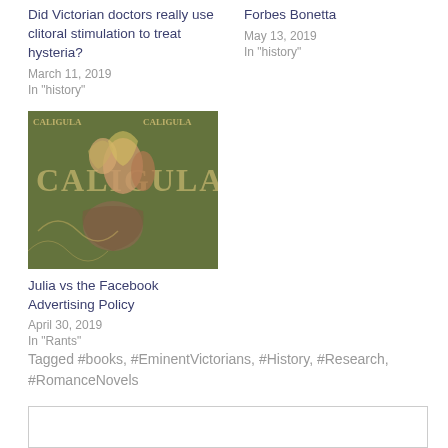Did Victorian doctors really use clitoral stimulation to treat hysteria?
March 11, 2019
In "history"
Forbes Bonetta
May 13, 2019
In "history"
[Figure (illustration): Book cover for Caligula movie/book with illustrated figures]
Julia vs the Facebook Advertising Policy
April 30, 2019
In "Rants"
Tagged #books, #EminentVictorians, #History, #Research, #RomanceNovels